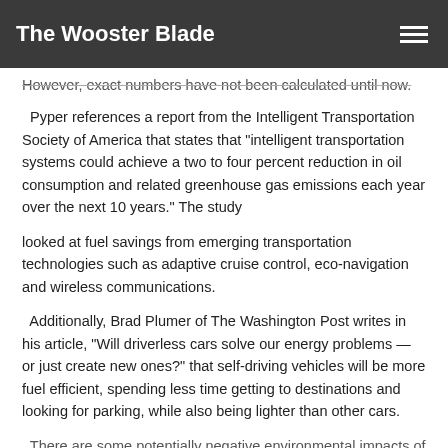The Wooster Blade
However, exact numbers have not been calculated until now.
Pyper references a report from the Intelligent Transportation Society of America that states that “intelligent transportation systems could achieve a two to four percent reduction in oil consumption and related greenhouse gas emissions each year over the next 10 years.” The study looked at fuel savings from emerging transportation technologies such as adaptive cruise control, eco-navigation and wireless communications.
Additionally, Brad Plumer of The Washington Post writes in his article, “Will driverless cars solve our energy problems — or just create new ones?” that self-driving vehicles will be more fuel efficient, spending less time getting to destinations and looking for parking, while also being lighter than other cars.
There are some potentially negative environmental impacts of